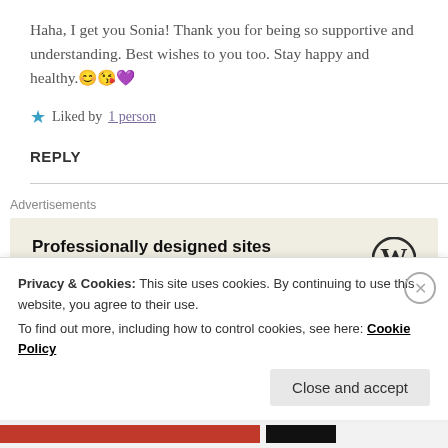Haha, I get you Sonia! Thank you for being so supportive and understanding. Best wishes to you too. Stay happy and healthy.😊😘💜
★ Liked by 1 person
REPLY
Advertisements
[Figure (other): WordPress advertisement: 'Professionally designed sites in less than a week' with WordPress logo]
Privacy & Cookies: This site uses cookies. By continuing to use this website, you agree to their use.
To find out more, including how to control cookies, see here: Cookie Policy
Close and accept